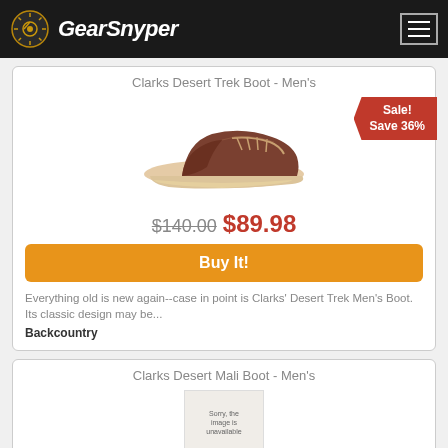GearSnyper
Clarks Desert Trek Boot - Men's
[Figure (photo): Brown leather Clarks Desert Trek Boot with crepe sole, shown from side angle]
Sale! Save 36%
$140.00 $89.98
Buy It!
Everything old is new again--case in point is Clarks' Desert Trek Men's Boot. Its classic design may be...
Backcountry
Clarks Desert Mall Boot - Men's
[Figure (photo): Image unavailable placeholder box]